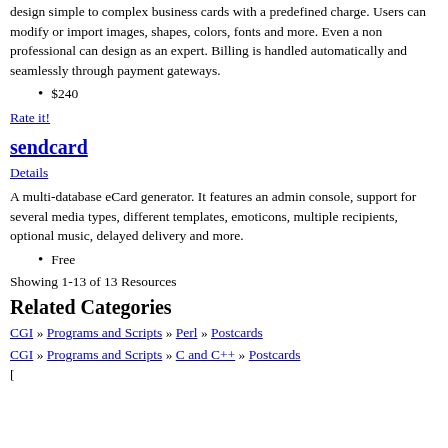design simple to complex business cards with a predefined charge. Users can modify or import images, shapes, colors, fonts and more. Even a non professional can design as an expert. Billing is handled automatically and seamlessly through payment gateways.
$240
Rate it!
sendcard
Details
A multi-database eCard generator. It features an admin console, support for several media types, different templates, emoticons, multiple recipients, optional music, delayed delivery and more.
Free
Showing 1-13 of 13 Resources
Related Categories
CGI » Programs and Scripts » Perl » Postcards
CGI » Programs and Scripts » C and C++ » Postcards
[